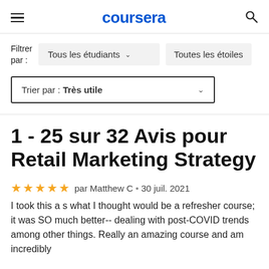coursera
Filtrer par : Tous les étudiants ∨   Toutes les étoiles
Trier par : Très utile ∨
1 - 25 sur 32 Avis pour Retail Marketing Strategy
★★★★★ par Matthew C • 30 juil. 2021
I took this a s what I thought would be a refresher course; it was SO much better-- dealing with post-COVID trends among other things. Really an amazing course and am incredibly